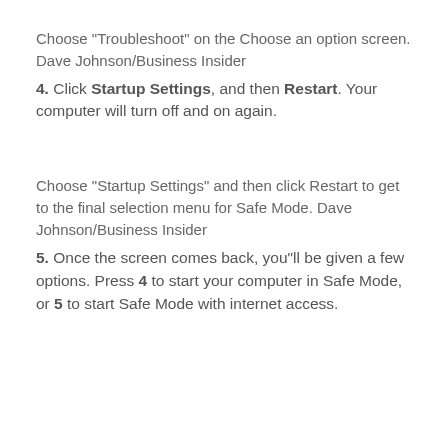Choose "Troubleshoot" on the Choose an option screen. Dave Johnson/Business Insider
4. Click Startup Settings, and then Restart. Your computer will turn off and on again.
Choose "Startup Settings" and then click Restart to get to the final selection menu for Safe Mode. Dave Johnson/Business Insider
5. Once the screen comes back, you"ll be given a few options. Press 4 to start your computer in Safe Mode, or 5 to start Safe Mode with internet access.